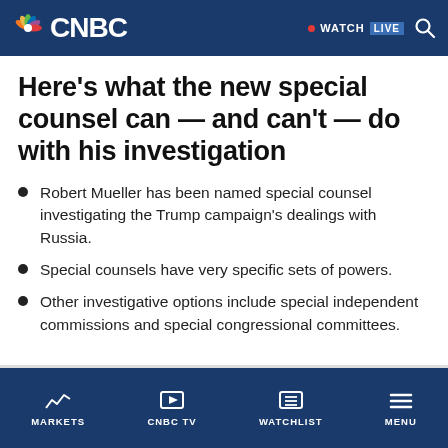CNBC — WATCH LIVE
Here's what the new special counsel can — and can't — do with his investigation
Robert Mueller has been named special counsel investigating the Trump campaign's dealings with Russia.
Special counsels have very specific sets of powers.
Other investigative options include special independent commissions and special congressional committees.
MARKETS   CNBC TV   WATCHLIST   MENU